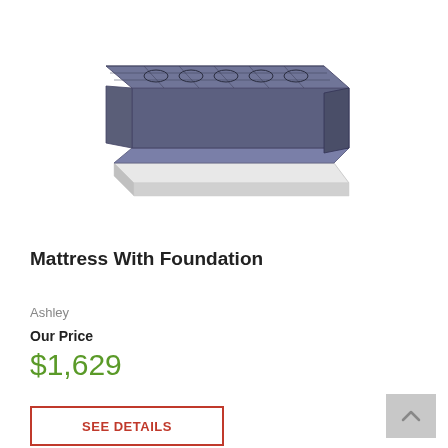[Figure (photo): Product photo of a mattress with foundation/box spring, shown in perspective view. The mattress has a dark grey quilted pattern on top and the foundation is white/grey below.]
Mattress With Foundation
Ashley
Our Price
$1,629
SEE DETAILS